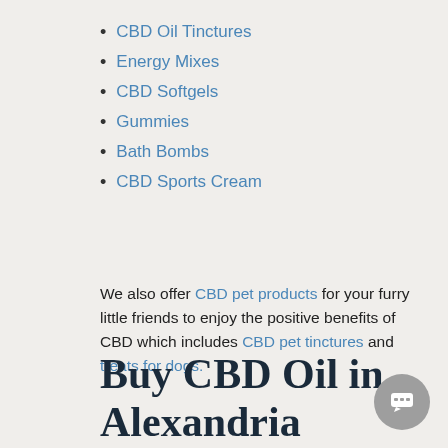CBD Oil Tinctures
Energy Mixes
CBD Softgels
Gummies
Bath Bombs
CBD Sports Cream
We also offer CBD pet products for your furry little friends to enjoy the positive benefits of CBD which includes CBD pet tinctures and treats for dogs.
Buy CBD Oil in Alexandria